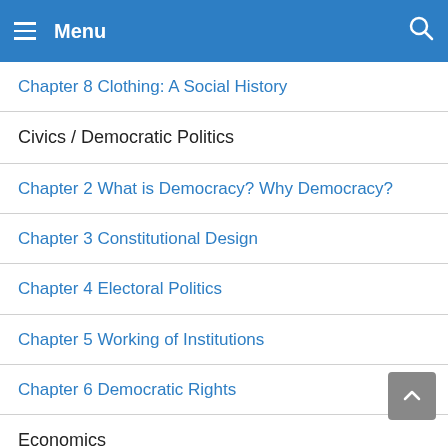Menu
Chapter 8 Clothing: A Social History
Civics / Democratic Politics
Chapter 2 What is Democracy? Why Democracy?
Chapter 3 Constitutional Design
Chapter 4 Electoral Politics
Chapter 5 Working of Institutions
Chapter 6 Democratic Rights
Economics
Chapter 1 The Story of Village Palampur
Chapter 2 People as Resource